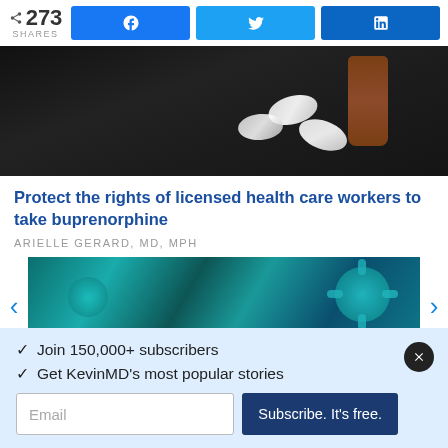273 SHARES | Facebook | Twitter | LinkedIn
[Figure (photo): Pills spilling from an orange prescription bottle on a dark background]
Protect the rights of licensed health care workers to take buprenorphine
ARIELLE GERARD, MD, MPH
[Figure (photo): Blue-green teal image of coronavirus/virus particles floating]
✓  Join 150,000+ subscribers
✓  Get KevinMD's most popular stories
Email | Subscribe. It's free.